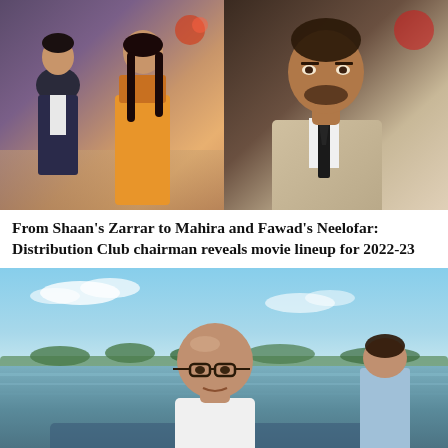[Figure (photo): Split photo: left side shows two actors (male and female) from Pakistani drama Neelofar posed close together; right side shows actor Shaan Shahid in a suit with dark tie against a dark background]
From Shaan's Zarrar to Mahira and Fawad's Neelofar: Distribution Club chairman reveals movie lineup for 2022-23
[Figure (photo): An older bald man wearing glasses and a white shirt seated on a boat on a flooded area with sky and trees visible in the background, with other people partially visible]